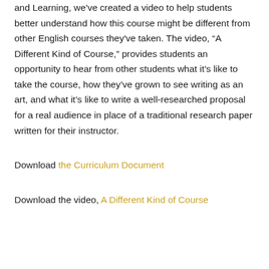and Learning, we've created a video to help students better understand how this course might be different from other English courses they've taken. The video, “A Different Kind of Course,” provides students an opportunity to hear from other students what it’s like to take the course, how they’ve grown to see writing as an art, and what it’s like to write a well-researched proposal for a real audience in place of a traditional research paper written for their instructor.
Download the Curriculum Document
Download the video, A Different Kind of Course